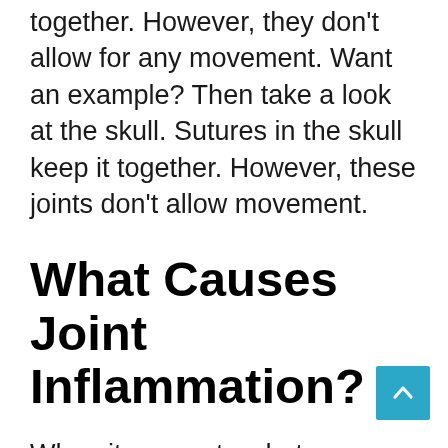together. However, they don't allow for any movement. Want an example? Then take a look at the skull. Sutures in the skull keep it together. However, these joints don't allow movement.
What Causes Joint Inflammation?
When it comes to what causes joint inflammation, it can be several things. One of the most common problems is arthritis. The